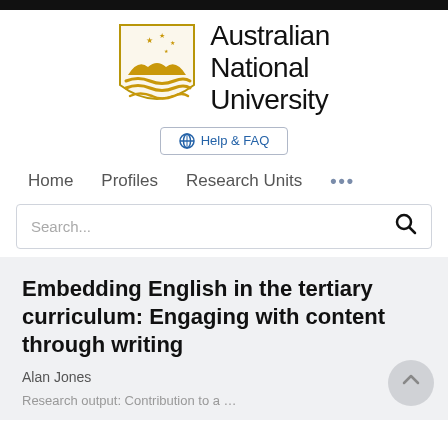[Figure (logo): Australian National University logo with shield and text]
Help & FAQ
Home   Profiles   Research Units   ...
Search...
Embedding English in the tertiary curriculum: Engaging with content through writing
Alan Jones
Research output: Contribution to a …